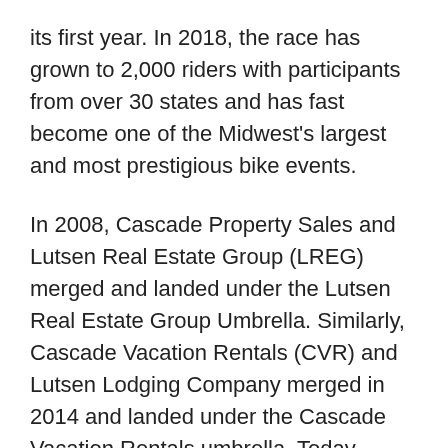its first year.  In 2018, the race has grown to 2,000 riders with participants from over 30 states and has fast become one of the Midwest's largest and most prestigious bike events.
In 2008, Cascade Property Sales and Lutsen Real Estate Group (LREG) merged and landed under the Lutsen Real Estate Group Umbrella.  Similarly, Cascade Vacation Rentals (CVR) and Lutsen Lodging Company merged in 2014 and landed under the Cascade Vacation Rentals umbrella.  Today, Mike, along with his Broker partner Steve Surbaugh manage over 200 vacation rentals throughout Cook and Lake Counties with such activities complimented by the real estate group working with clients looking to buy, sell, and/or become part of a vacation rental